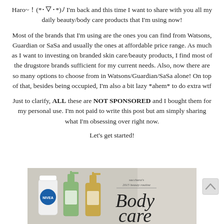Haro~！(*･▽･*)ﾉ I'm back and this time I want to share with you all my daily beauty/body care products that I'm using now!
Most of the brands that I'm using are the ones you can find from Watsons, Guardian or SaSa and usually the ones at affordable price range. As much as I want to investing on branded skin care/beauty products, I find most of the drugstore brands sufficient for my current needs. Also, now there are so many options to choose from in Watsons/Guardian/SaSa alone! On top of that, besides being occupied, I'm also a bit lazy *ahem* to do extra wtf
Just to clarify, ALL these are NOT SPONSORED and I bought them for my personal use. I'm not paid to write this post but am simply sharing what I'm obsessing over right now.
Let's get started!
[Figure (photo): Photo of beauty/body care products including NIVEA tube, two pump bottles, with text overlay reading 'sacchara's 2015 beauty routine Body care']